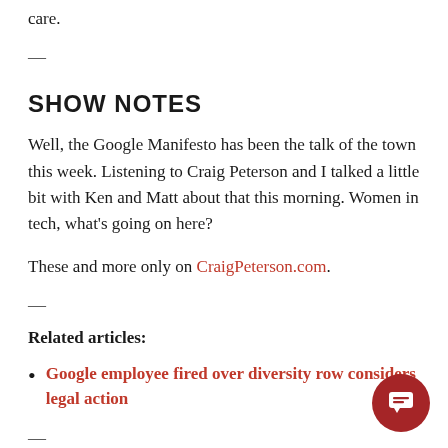care.
—
SHOW NOTES
Well, the Google Manifesto has been the talk of the town this week. Listening to Craig Peterson and I talked a little bit with Ken and Matt about that this morning. Women in tech, what's going on here?
These and more only on CraigPeterson.com.
—
Related articles:
Google employee fired over diversity row considers legal action
—